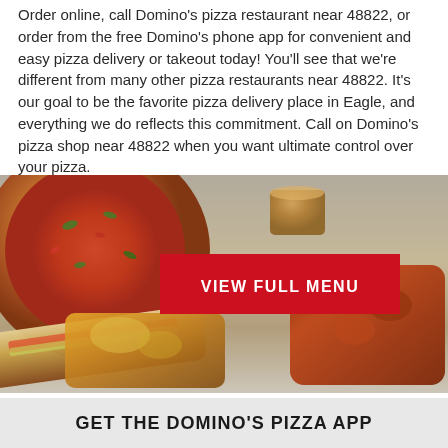Order online, call Domino's pizza restaurant near 48822, or order from the free Domino's phone app for convenient and easy pizza delivery or takeout today! You'll see that we're different from many other pizza restaurants near 48822. It's our goal to be the favorite pizza delivery place in Eagle, and everything we do reflects this commitment. Call on Domino's pizza shop near 48822 when you want ultimate control over your pizza.
[Figure (photo): Photo of Domino's food items including a pizza, sub sandwich, wings, side item, and dipping sauce on a steel surface, with a red 'VIEW FULL MENU' button overlaid in the center.]
GET THE DOMINO'S PIZZA APP